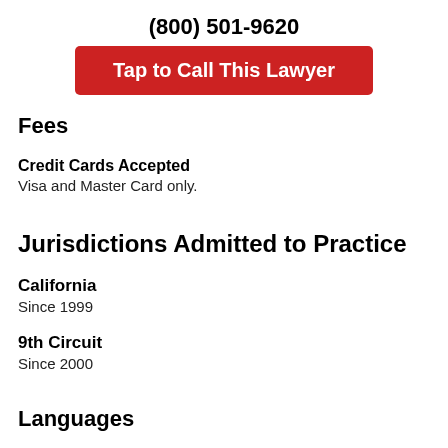(800) 501-9620
[Figure (other): Red button labeled 'Tap to Call This Lawyer']
Fees
Credit Cards Accepted
Visa and Master Card only.
Jurisdictions Admitted to Practice
California
Since 1999
9th Circuit
Since 2000
Languages